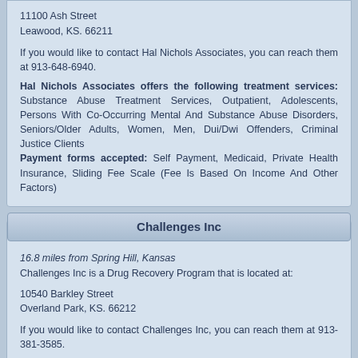11100 Ash Street
Leawood, KS. 66211

If you would like to contact Hal Nichols Associates, you can reach them at 913-648-6940.

Hal Nichols Associates offers the following treatment services: Substance Abuse Treatment Services, Outpatient, Adolescents, Persons With Co-Occurring Mental And Substance Abuse Disorders, Seniors/Older Adults, Women, Men, Dui/Dwi Offenders, Criminal Justice Clients
Payment forms accepted: Self Payment, Medicaid, Private Health Insurance, Sliding Fee Scale (Fee Is Based On Income And Other Factors)
Challenges Inc
16.8 miles from Spring Hill, Kansas
Challenges Inc is a Drug Recovery Program that is located at:

10540 Barkley Street
Overland Park, KS. 66212

If you would like to contact Challenges Inc, you can reach them at 913-381-3585.

Challenges Inc offers the following treatment services: